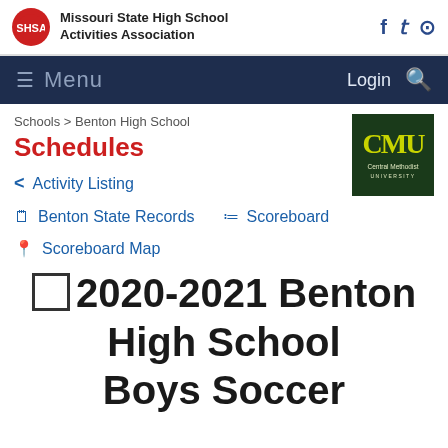Missouri State High School Activities Association
≡ Menu  Login 🔍
Schools > Benton High School
Schedules
[Figure (logo): CMU Central Methodist University logo — dark green background with yellow-green CMU letters]
< Activity Listing
Benton State Records
Scoreboard
Scoreboard Map
⬜ 2020-2021 Benton High School Boys Soccer